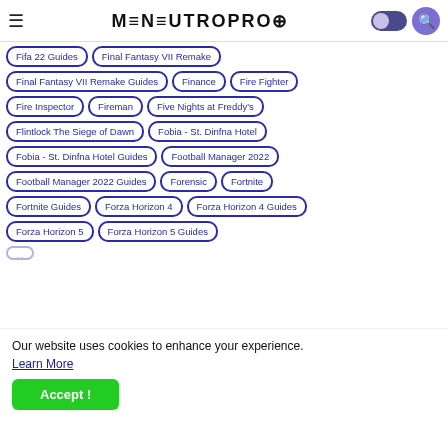MensutropRo navigation header with hamburger menu, logo, dark mode toggle, and search button
Fifa 22 Guides
Final Fantasy VII Remake
Final Fantasy VII Remake Guides
Finance
Fire Fighter
Fire Inspector
Fireman
Five Nights at Freddy's
Flintlock The Siege of Dawn
Fobia - St. Dinfna Hotel
Fobia - St. Dinfna Hotel Guides
Football Manager 2022
Football Manager 2022 Guides
Forensic
Fortnite
Fortnite Guides
Forza Horizon 4
Forza Horizon 4 Guides
Forza Horizon 5
Forza Horizon 5 Guides
Our website uses cookies to enhance your experience.
Learn More
Accept !